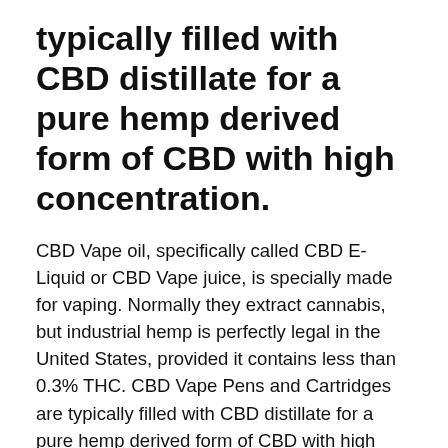typically filled with CBD distillate for a pure hemp derived form of CBD with high concentration.
CBD Vape oil, specifically called CBD E-Liquid or CBD Vape juice, is specially made for vaping. Normally they extract cannabis, but industrial hemp is perfectly legal in the United States, provided it contains less than 0.3% THC. CBD Vape Pens and Cartridges are typically filled with CBD distillate for a pure hemp derived form of CBD with high concentration. Alibaba offers 5 E2 Starter Kit Suppliers, and E2 Starter Kit Manufacturers, Distributors, Factories, Companies. There are 4 OEM, 4 ODM, 2 Self Patent. Find high quality E2 Starter Kit Suppliers on Alibaba. Usonicig is one of the best vape brands and companies, Vape4ever provides Usonicig Vape Starter Kits, Mods, Devices, etc. Buy the cheap, newest and 100% authentic Usonicig E-Cigarettes and vape products today! 10%